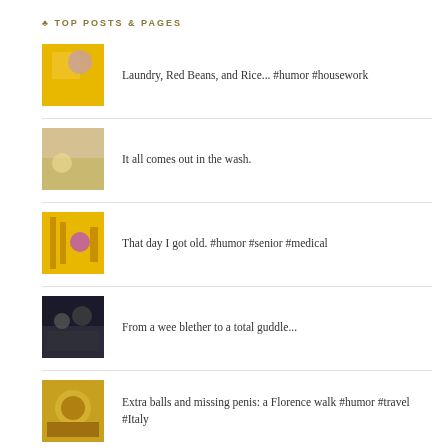♣ TOP POSTS & PAGES
Laundry, Red Beans, and Rice... #humor #housework
It all comes out in the wash.
That day I got old. #humor #senior #medical
From a wee blether to a total guddle...
Extra balls and missing penis: a Florence walk #humor #travel #Italy
The best worst train ride ever #humor #travel #London #pregnant
About